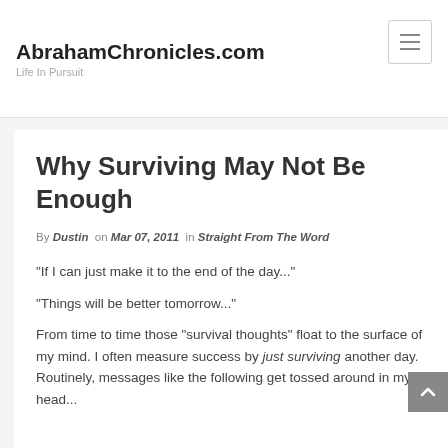AbrahamChronicles.com — Life In Pursuit
Why Surviving May Not Be Enough
By Dustin on Mar 07, 2011 in Straight From The Word
“If I can just make it to the end of the day...”
“Things will be better tomorrow...”
From time to time those “survival thoughts” float to the surface of my mind. I often measure success by just surviving another day. Routinely, messages like the following get tossed around in my head...